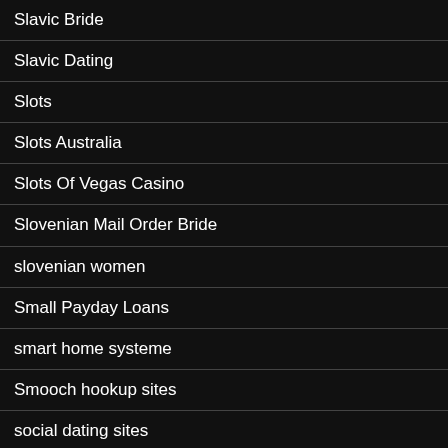Slavic Bride
Slavic Dating
Slots
Slots Australia
Slots Of Vegas Casino
Slovenian Mail Order Bride
slovenian women
Small Payday Loans
smart home systeme
Smooch hookup sites
social dating sites
Software
Software blog